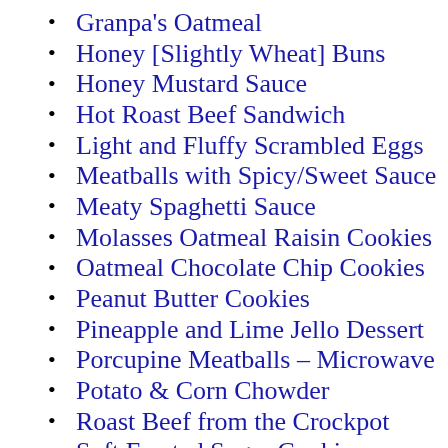Granpa's Oatmeal
Honey [Slightly Wheat] Buns
Honey Mustard Sauce
Hot Roast Beef Sandwich
Light and Fluffy Scrambled Eggs
Meatballs with Spicy/Sweet Sauce
Meaty Spaghetti Sauce
Molasses Oatmeal Raisin Cookies
Oatmeal Chocolate Chip Cookies
Peanut Butter Cookies
Pineapple and Lime Jello Dessert
Porcupine Meatballs – Microwave
Potato & Corn Chowder
Roast Beef from the Crockpot
Soft Frosted Sugar Cookies
Sweet Cornbread Muffins